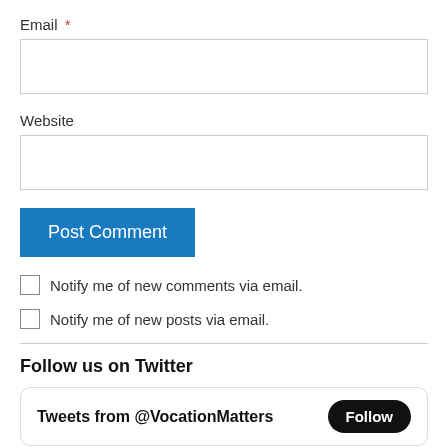Email *
Website
Post Comment
Notify me of new comments via email.
Notify me of new posts via email.
Follow us on Twitter
Tweets from @VocationMatters  Follow